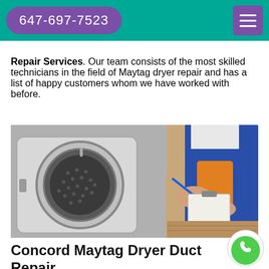647-697-7523
Repair Services. Our team consists of the most skilled technicians in the field of Maytag dryer repair and has a list of happy customers whom we have worked with before.
[Figure (photo): A technician in blue overalls writing on a clipboard while inspecting the inside of a front-load washing/drying machine drum, shown in black and white on the left side and color on the right.]
Concord Maytag Dryer Duct Repair